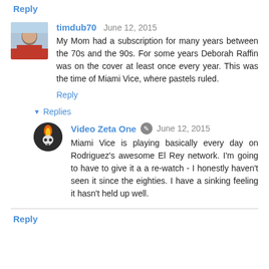Reply
timdub70  June 12, 2015
My Mom had a subscription for many years between the 70s and the 90s. For some years Deborah Raffin was on the cover at least once every year. This was the time of Miami Vice, where pastels ruled.
Reply
▼ Replies
Video Zeta One  June 12, 2015
Miami Vice is playing basically every day on Rodriguez's awesome El Rey network. I'm going to have to give it a a re-watch - I honestly haven't seen it since the eighties. I have a sinking feeling it hasn't held up well.
Reply